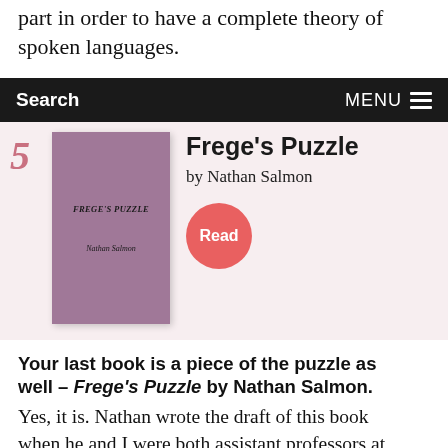part in order to have a complete theory of spoken languages.
Search   MENU
[Figure (illustration): Book cover of Frege's Puzzle by Nathan Salmon, purple/mauve colored cover with title and author name in italic text]
Frege's Puzzle
by Nathan Salmon
Read
Your last book is a piece of the puzzle as well – Frege's Puzzle by Nathan Salmon.
Yes, it is. Nathan wrote the draft of this book when he and I were both assistant professors at Princeton. We had something in common because we had both been influenced by two of my other